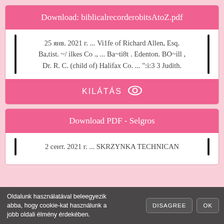Download: biblicalrecorderobitsAtoZ.pdf
25 янв. 2021 г. ... Vi1fe of Richard Allen, Esq. Ba,tist. ~/ ilkes Co ., ... Ba~ti8t . Edenton. BO~ill , Dr. R. C. (child of) Halifax Co. ... ":i:3 3 Judith.
KILÁTÁS 👁
Download PDF - Selgros
2 сент. 2021 г. ... SKRZYNKA TECHNICAN
Oldalunk használatával beleegyezik abba, hogy cookie-kat használunk a jobb oldali élmény érdekében.